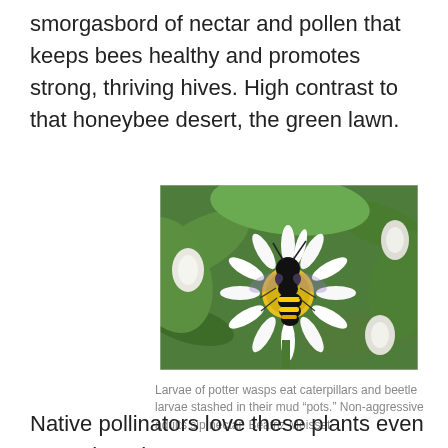smorgasbord of nectar and pollen that keeps bees healthy and promotes strong, thriving hives. High contrast to that honeybee desert, the green lawn.
[Figure (photo): A black and yellow potter wasp (Eumenes) sitting on a white daisy-like flower with a yellow center, surrounded by green leaves and white flower buds.]
Larvae of potter wasps eat caterpillars and beetle larvae stashed in their mud “pots.” Non-aggressive adults sip nectar. Beatriz Moisset
Native pollinators love these plants even more than the